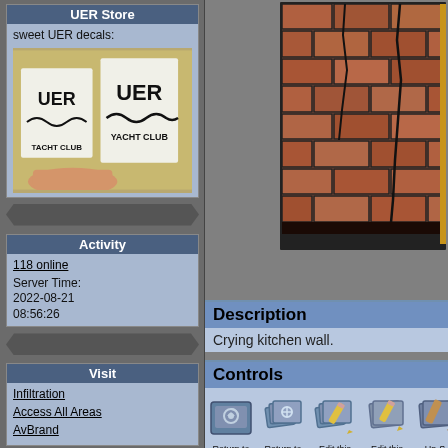UER Store
sweet UER decals:
[Figure (photo): Photo of two UER stickers being held - UER Yacht Club logo stickers in black and white]
Activity
118 online
Server Time:
2022-08-21
08:56:26
Visit
Infiltration
Access All Areas
AvBrand
[Figure (photo): Photo of cracked brick wall / kitchen wall tiles with dark cracks]
Description
Crying kitchen wall.
Controls
Return to Main Location Page
Return to Gallery Overview
Edit this Gallery
Edit this Picture
Un-S this